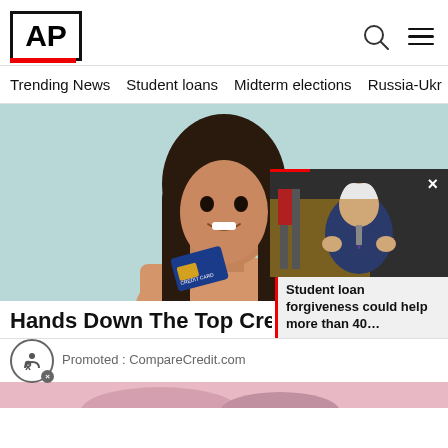[Figure (logo): AP (Associated Press) logo in black bold text inside a black border box, with a red underline bar]
Trending News   Student loans   Midterm elections   Russia-Ukr
[Figure (photo): Young woman with long brown hair, smiling, wearing a beige top, holding a blue credit card, against a light teal background]
Hands Down The Top Credit C
Promoted : CompareCredit.com
[Figure (screenshot): Thumbnail video of Biden speaking at podium with US flags in background]
Student loan forgiveness could help more than 40…
[Figure (other): Accessibility/wheelchair icon button with X badge]
[Figure (photo): Bottom strip showing partial close-up image with pink/rose tones]